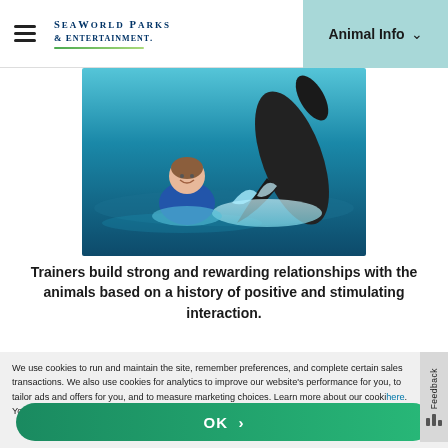SeaWorld Parks & Entertainment — Animal Info
[Figure (photo): A trainer smiling in the water next to a large dolphin or whale splashing in a blue pool at SeaWorld]
Trainers build strong and rewarding relationships with the animals based on a history of positive and stimulating interaction.
We use cookies to run and maintain the site, remember preferences, and complete certain sales transactions. We also use cookies for analytics to improve our website's performance for you, to tailor ads and offers for you, and to measure marketing choices. Learn more about our cookie here. You may update cookie settings here or select "OK" to continue with default settings.
OK >